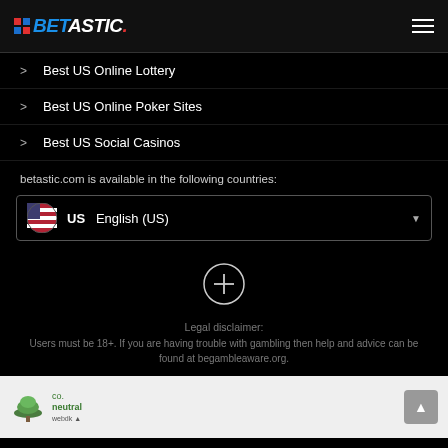BETASTIC.
> Best US Online Lottery
> Best US Online Poker Sites
> Best US Social Casinos
betastic.com is available in the following countries:
US  English (US)
[Figure (other): Circle with plus (+) icon button]
Legal disclaimer:
Users must be 18+. If you are having trouble with gambling then help and advice can be found at begambleaware.org.
[Figure (logo): co. neutral logo with green tree icon]
Back to top arrow button